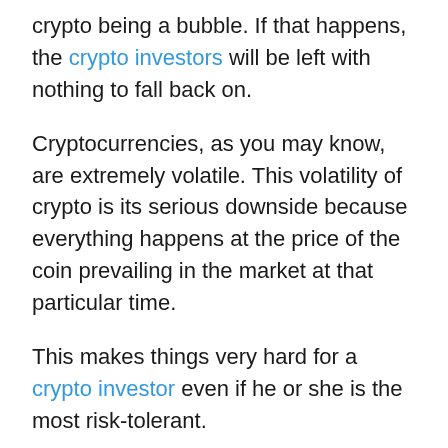crypto being a bubble. If that happens, the crypto investors will be left with nothing to fall back on.
Cryptocurrencies, as you may know, are extremely volatile. This volatility of crypto is its serious downside because everything happens at the price of the coin prevailing in the market at that particular time.
This makes things very hard for a crypto investor even if he or she is the most risk-tolerant.
This is because the entire value of the investment made can be lost at any point in time unlike real estate investing.